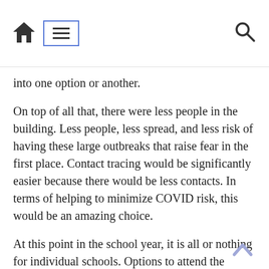[navigation bar with home icon, menu icon, and search icon]
into one option or another.
On top of all that, there were less people in the building. Less people, less spread, and less risk of having these large outbreaks that raise fear in the first place. Contact tracing would be significantly easier because there would be less contacts. In terms of helping to minimize COVID risk, this would be an amazing choice.
At this point in the school year, it is all or nothing for individual schools. Options to attend the virtual academy have been closed for months, and its lengthy application process may have steered many away. We are all mandated to attend in-person or we will all have to work with virtual learning, for